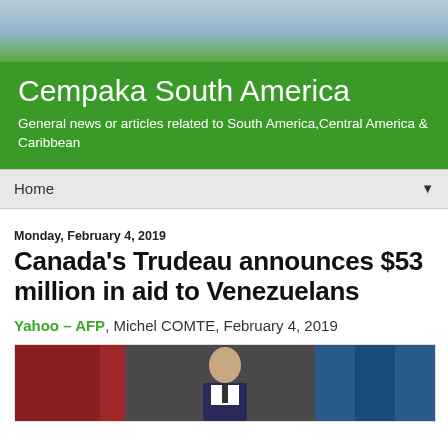[Figure (photo): Hero photo at top of page showing blurred outdoor scene with blue/green tones]
Cempaka South America
General news or articles related to South America,Central America & Caribbean
Home
Monday, February 4, 2019
Canada's Trudeau announces $53 million in aid to Venezuelans
Yahoo – AFP, Michel COMTE, February 4, 2019
[Figure (photo): Photo of a man in a suit standing in front of flags]